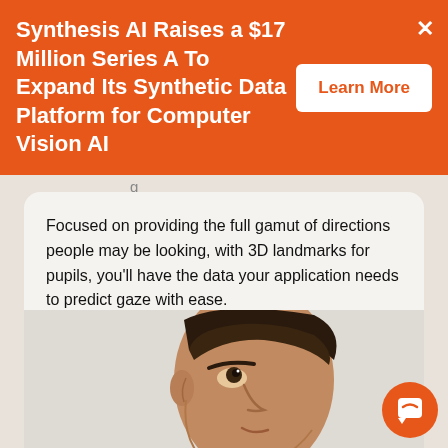Synthesis AI Raises a $17 Million Series A To Expand Its Synthetic Data Platform for Computer Vision AI
Learn More
Focused on providing the full gamut of directions people may be looking, with 3D landmarks for pupils, you'll have the data your application needs to predict gaze with ease.
[Figure (photo): A man looking upward, side profile view, with dark hair and brown skin, rendered in a near-photorealistic style against a light background.]